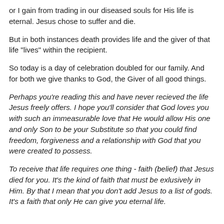or I gain from trading in our diseased souls for His life is eternal. Jesus chose to suffer and die.
But in both instances death provides life and the giver of that life "lives" within the recipient.
So today is a day of celebration doubled for our family. And for both we give thanks to God, the Giver of all good things.
Perhaps you're reading this and have never recieved the life Jesus freely offers. I hope you'll consider that God loves you with such an immeasurable love that He would allow His one and only Son to be your Substitute so that you could find freedom, forgiveness and a relationship with God that you were created to possess.
To receive that life requires one thing - faith (belief) that Jesus died for you. It's the kind of faith that must be exlusively in Him. By that I mean that you don't add Jesus to a list of gods. It's a faith that only He can give you eternal life.